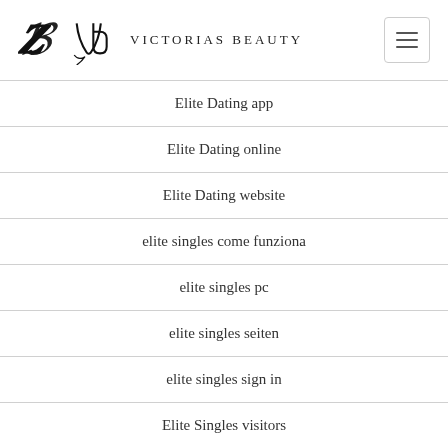Victorias Beauty
Elite Dating app
Elite Dating online
Elite Dating website
elite singles come funziona
elite singles pc
elite singles seiten
elite singles sign in
Elite Singles visitors
elite-singles-inceleme kayД±t olmak